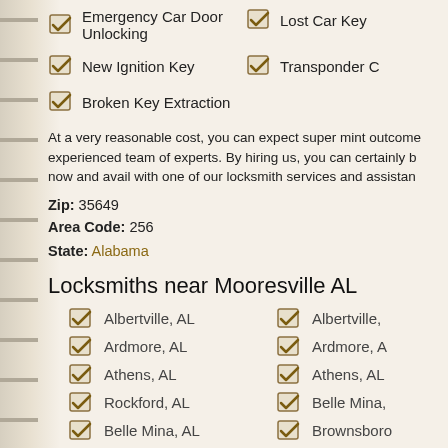Emergency Car Door Unlocking
Lost Car Key
New Ignition Key
Transponder C
Broken Key Extraction
At a very reasonable cost, you can expect super mint outcome experienced team of experts. By hiring us, you can certainly b now and avail with one of our locksmith services and assistan
Zip: 35649
Area Code: 256
State: Alabama
Locksmiths near Mooresville AL
Albertville, AL
Albertville,
Ardmore, AL
Ardmore, A
Athens, AL
Athens, AL
Rockford, AL
Belle Mina,
Belle Mina, AL
Brownsboro